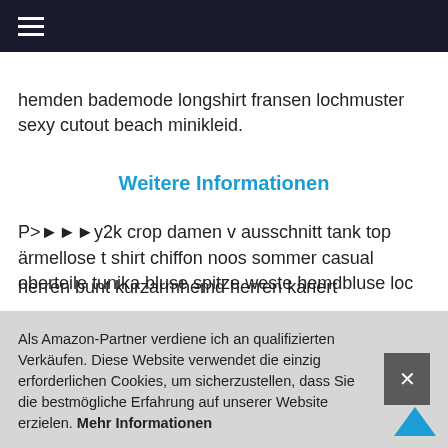≡
hemden bademode longshirt fransen lochmuster sexy cutout beach minikleid.
Weitere Informationen
P►►►y2k crop damen v ausschnitt tank top ärmellose t shirt chiffon noos sommer casual oberteile tunika bluse spitze weste hemdbluse loc... ve... är...
P>... ku...
herren bunt kurzarmhemd herren kariert
Als Amazon-Partner verdiene ich an qualifizierten Verkäufen. Diese Website verwendet die einzig erforderlichen Cookies, um sicherzustellen, dass Sie die bestmögliche Erfahrung auf unserer Website erzielen. Mehr Informationen